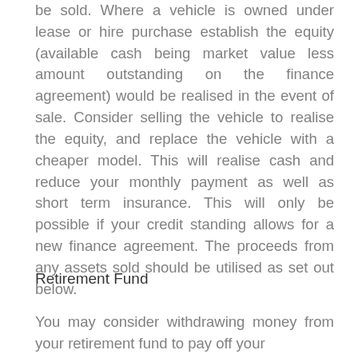be sold. Where a vehicle is owned under lease or hire purchase establish the equity (available cash being market value less amount outstanding on the finance agreement) would be realised in the event of sale. Consider selling the vehicle to realise the equity, and replace the vehicle with a cheaper model. This will realise cash and reduce your monthly payment as well as short term insurance. This will only be possible if your credit standing allows for a new finance agreement. The proceeds from any assets sold should be utilised as set out below.
Retirement Fund
You may consider withdrawing money from your retirement fund to pay off your